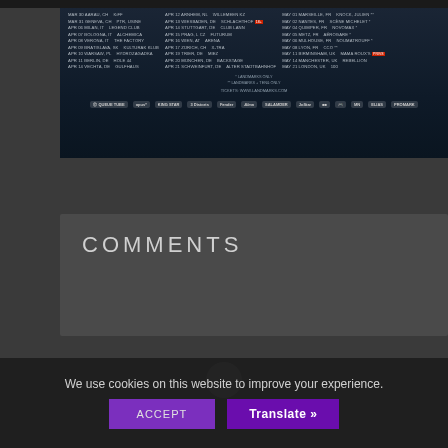[Figure (infographic): Concert tour poster showing tour dates across multiple European cities (March–May), with sponsor logos at the bottom including Opus, King Star, Fender, and others. Dark blue/grey atmospheric background.]
COMMENTS
We use cookies on this website to improve your experience.
ACCEPT
Translate »